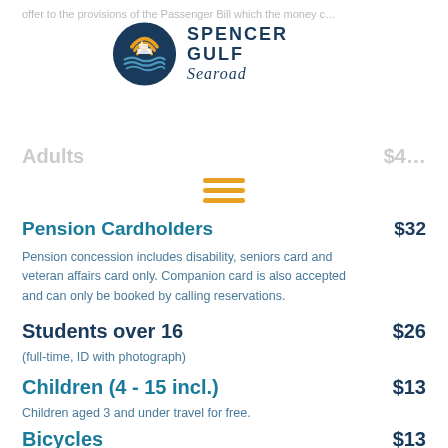(faded top text - partially visible)
[Figure (logo): Spencer Gulf Searoad logo with circular ocean/sunset graphic and text]
Adults (faded)
Pension Cardholders $32
Pension concession includes disability, seniors card and veteran affairs card only. Companion card is also accepted and can only be booked by calling reservations.
Students over 16 $26
(full-time, ID with photograph)
Children (4 - 15 incl.) $13
Children aged 3 and under travel for free.
Bicycles $13